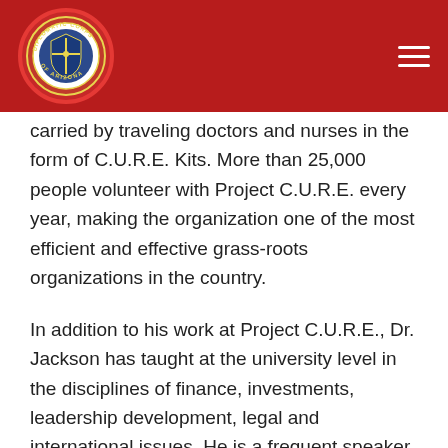[Figure (logo): Diplomatic Corps of Arizona circular seal/logo with red border, gold lettering, and central shield emblem]
carried by traveling doctors and nurses in the form of C.U.R.E. Kits. More than 25,000 people volunteer with Project C.U.R.E. every year, making the organization one of the most efficient and effective grass-roots organizations in the country.
In addition to his work at Project C.U.R.E., Dr. Jackson has taught at the university level in the disciplines of finance, investments, leadership development, legal and international issues. He is a frequent speaker